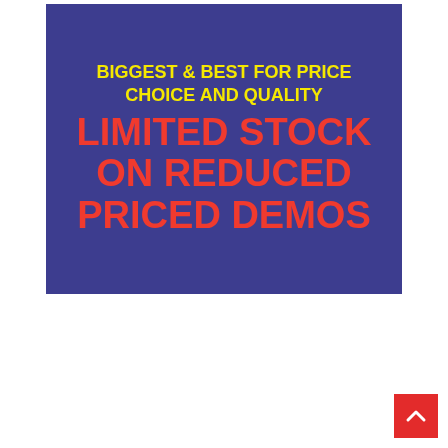[Figure (infographic): Dark blue/purple banner with yellow bold text 'BIGGEST & BEST FOR PRICE CHOICE AND QUALITY' at top, and large red bold text 'LIMITED STOCK ON REDUCED PRICED DEMOS' below.]
[Figure (other): Red 'back to top' button with white upward-pointing chevron arrow, positioned in the bottom-right corner.]